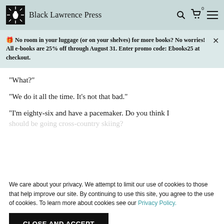Black Lawrence Press
🎁 No room in your luggage (or on your shelves) for more books? No worries! All e-books are 25% off through August 31. Enter promo code: Ebooks25 at checkout.
“What?”
“We do it all the time. It’s not that bad.”
“I’m eighty-six and have a pacemaker. Do you think I should be…
We care about your privacy. We attempt to limit our use of cookies to those that help improve our site. By continuing to use this site, you agree to the use of cookies. To learn more about cookies see our Privacy Policy.
CLOSE AND ACCEPT
* * *
In the morning I step outside with Ralph. He…